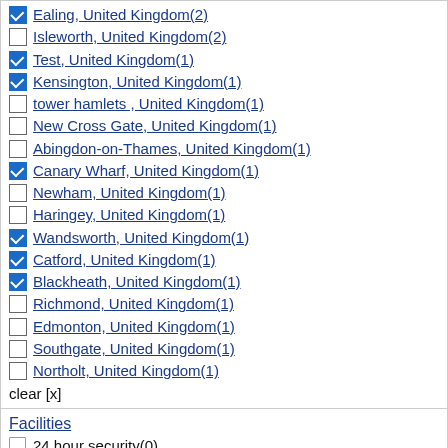Ealing, United Kingdom(2) [checked]
Isleworth, United Kingdom(2) [unchecked]
Test, United Kingdom(1) [checked]
Kensington, United Kingdom(1) [checked]
tower hamlets , United Kingdom(1) [unchecked]
New Cross Gate, United Kingdom(1) [unchecked]
Abingdon-on-Thames, United Kingdom(1) [unchecked]
Canary Wharf, United Kingdom(1) [checked]
Newham, United Kingdom(1) [unchecked]
Haringey, United Kingdom(1) [unchecked]
Wandsworth, United Kingdom(1) [checked]
Catford, United Kingdom(1) [checked]
Blackheath, United Kingdom(1) [checked]
Richmond, United Kingdom(1) [unchecked]
Edmonton, United Kingdom(1) [unchecked]
Southgate, United Kingdom(1) [unchecked]
Northolt, United Kingdom(1) [unchecked]
clear [x]
Facilities
24 hour security(0) [unchecked]
24h reception(0) [unchecked]
24h room service(0) [unchecked]